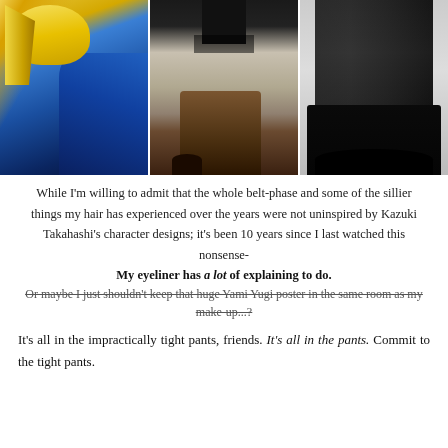[Figure (photo): Three-panel image: left panel shows anime character artwork (Yami Yugi style) with blue outfit and yellow hair; center panel shows a person's lower body in cosplay with layered leggings and tall brown boots; right panel shows a person's lower body in all-black gothic outfit with shiny black pants and platform boots.]
While I'm willing to admit that the whole belt-phase and some of the sillier things my hair has experienced over the years were not uninspired by Kazuki Takahashi's character designs; it's been 10 years since I last watched this nonsense-
My eyeliner has a lot of explaining to do.
Or maybe I just shouldn't keep that huge Yami Yugi poster in the same room as my make-up...?
It's all in the impractically tight pants, friends. It's all in the pants. Commit to the tight pants.